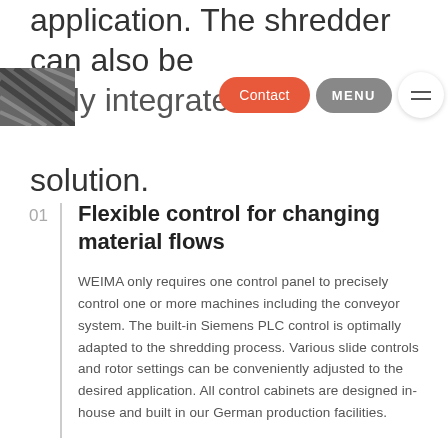application. The shredder can also be ideally integrated into a turn-key solution.
[Figure (screenshot): Navigation bar with logo (hatched), orange Contact button, grey MENU button, and white circular hamburger icon]
01 Flexible control for changing material flows
WEIMA only requires one control panel to precisely control one or more machines including the conveyor system. The built-in Siemens PLC control is optimally adapted to the shredding process. Various slide controls and rotor settings can be conveniently adjusted to the desired application. All control cabinets are designed in-house and built in our German production facilities.